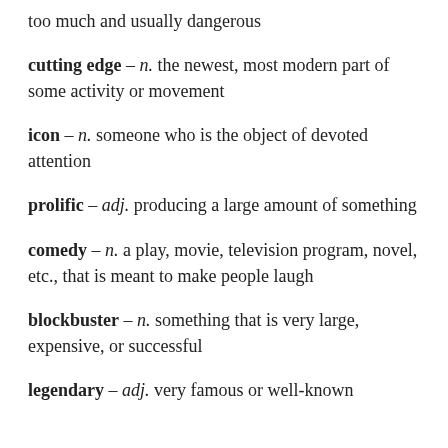too much and usually dangerous
cutting edge – n. the newest, most modern part of some activity or movement
icon – n. someone who is the object of devoted attention
prolific – adj. producing a large amount of something
comedy – n. a play, movie, television program, novel, etc., that is meant to make people laugh
blockbuster – n. something that is very large, expensive, or successful
legendary – adj. very famous or well-known